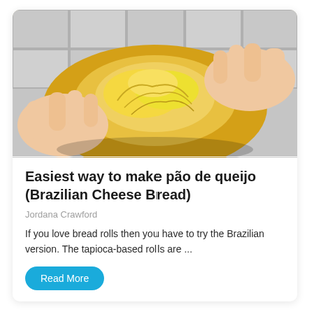[Figure (photo): Close-up photo of hands pulling apart a Brazilian cheese bread roll (pão de queijo), showing its chewy, golden, stretchy interior texture. Background shows a light grey tile wall.]
Easiest way to make pão de queijo (Brazilian Cheese Bread)
Jordana Crawford
If you love bread rolls then you have to try the Brazilian version. The tapioca-based rolls are ...
Read More